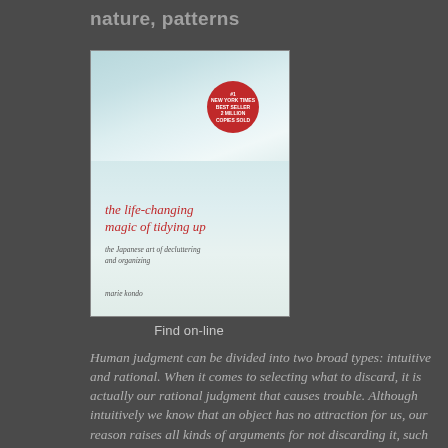nature, patterns
[Figure (photo): Book cover of 'the life-changing magic of tidying up: the Japanese art of decluttering and organizing' by marie kondo, with a teal/cloudy watercolor background and a red circular badge reading '#1 New York Times Best Seller 2 Million Copies Sold'.]
Find on-line
Human judgment can be divided into two broad types: intuitive and rational. When it comes to selecting what to discard, it is actually our rational judgment that causes trouble. Although intuitively we know that an object has no attraction for us, our reason raises all kinds of arguments for not discarding it, such as "I might need it later," or "It's